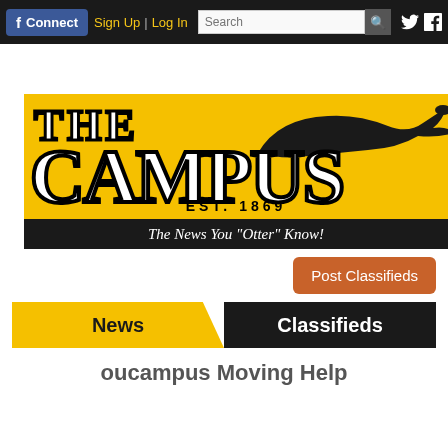f Connect  Sign Up | Log In  Search  [twitter] [facebook]
[Figure (logo): The Campus newspaper logo on yellow background with otter silhouette. EST. 1869. Tagline: The News You 'Otter' Know!]
Post Classifieds
News   Classifieds
oucampus Moving Help